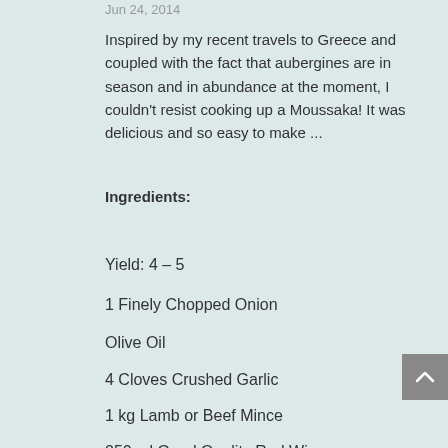Jun 24, 2014
Inspired by my recent travels to Greece and coupled with the fact that aubergines are in season and in abundance at the moment, I couldn't resist cooking up a Moussaka! It was delicious and so easy to make ...
Ingredients:
Yield: 4 – 5
1 Finely Chopped Onion
Olive Oil
4 Cloves Crushed Garlic
1 kg Lamb or Beef Mince
250 ml Good Quality Red Wine
800grms Can Chopped Tomatoes